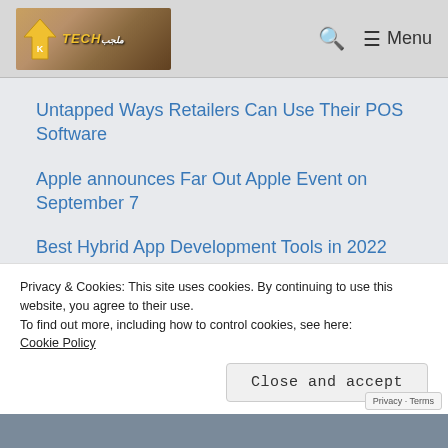TECH logo | Search | Menu
Untapped Ways Retailers Can Use Their POS Software
Apple announces Far Out Apple Event on September 7
Best Hybrid App Development Tools in 2022
5 Best Ways to Stand Out on LinkedIn
Know Why IT Consulting Companies Are
Privacy & Cookies: This site uses cookies. By continuing to use this website, you agree to their use.
To find out more, including how to control cookies, see here:
Cookie Policy
Close and accept
Privacy · Terms